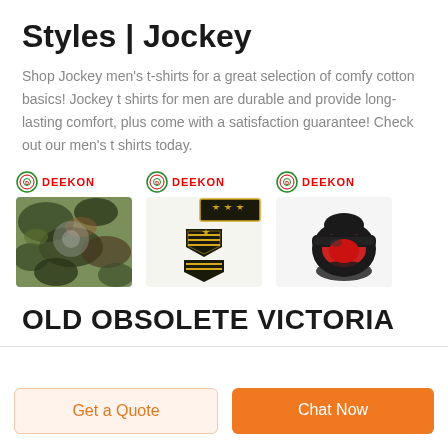Styles | Jockey
Shop Jockey men's t-shirts for a great selection of comfy cotton basics! Jockey t shirts for men are durable and provide long-lasting comfort, plus come with a satisfaction guarantee! Check out our men's t shirts today.
[Figure (photo): Three product images with DEEKON logos: camouflage fabric, military rank patches, and a black/red ankle support brace]
OLD OBSOLETE VICTORIA